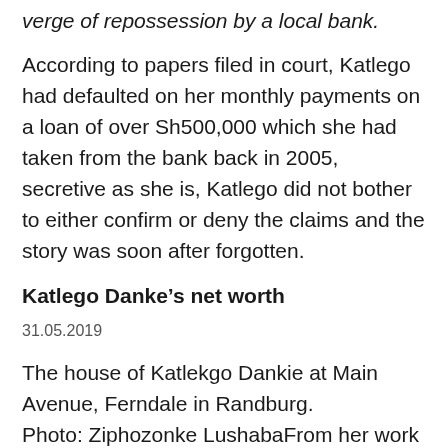verge of repossession by a local bank.
According to papers filed in court, Katlego had defaulted on her monthly payments on a loan of over Sh500,000 which she had taken from the bank back in 2005, secretive as she is, Katlego did not bother to either confirm or deny the claims and the story was soon after forgotten.
Katlego Danke’s net worth
31.05.2019
The house of Katlekgo Dankie at Main Avenue, Ferndale in Randburg.
Photo: Ziphozonke LushabaFrom her work on TV (acting and as a host), endorsement deals, and other